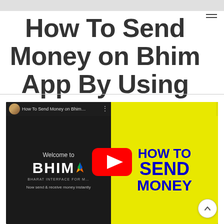How To Send Money on Bhim App By Using Account Number And IFSC Code
[Figure (screenshot): YouTube video thumbnail showing 'How To Send Money on Bhim App' with two panels: left dark panel showing BHIM app welcome screen with logo and 'Now send & receive money instantly' text, right yellow panel with blue bold text reading 'HOW TO SEND MONEY ON BHIM' with a YouTube play button overlay in the center]